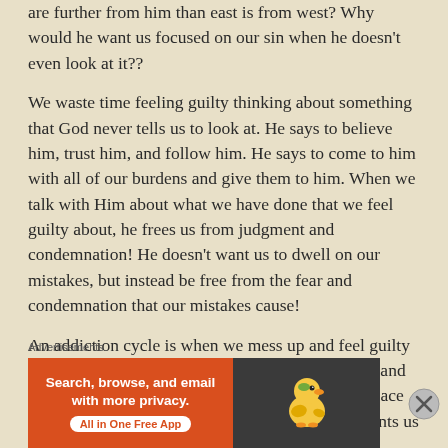are further from him than east is from west? Why would he want us focused on our sin when he doesn't even look at it??
We waste time feeling guilty thinking about something that God never tells us to look at. He says to believe him, trust him, and follow him. He says to come to him with all of our burdens and give them to him. When we talk with Him about what we have done that we feel guilty about, he frees us from judgment and condemnation! He doesn't want us to dwell on our mistakes, but instead be free from the fear and condemnation that our mistakes cause!
An addiction cycle is when we mess up and feel guilty and then mess up again BECAUSE we feel guilty and unworthy. God doesn't want us to live there in a place of defeat chained to our habitual mess-ups. He wants us to have the freedom to walk
Advertisements
[Figure (other): DuckDuckGo advertisement banner: orange left panel with text 'Search, browse, and email with more privacy. All in One Free App', dark right panel with DuckDuckGo duck logo]